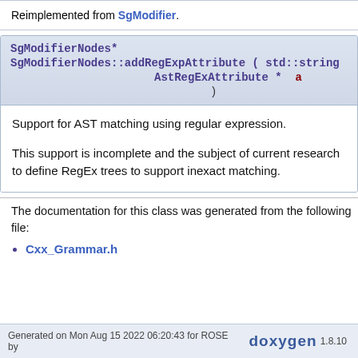Reimplemented from SgModifier.
SgModifierNodes* SgModifierNodes::addRegExpAttribute ( std::string s, AstRegExAttribute * a )
Support for AST matching using regular expression.
This support is incomplete and the subject of current research to define RegEx trees to support inexact matching.
The documentation for this class was generated from the following file:
Cxx_Grammar.h
Generated on Mon Aug 15 2022 06:20:43 for ROSE by doxygen 1.8.10